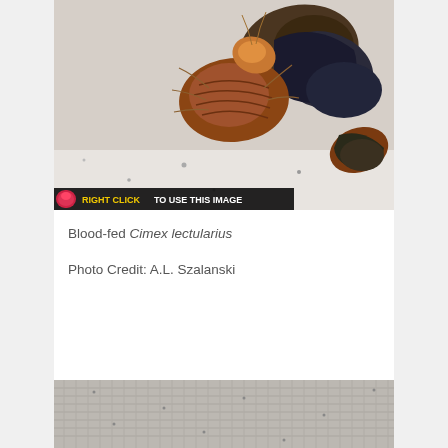[Figure (photo): Close-up macro photograph of blood-fed Cimex lectularius (bed bugs) clustered together, showing brown and dark-colored insects with a watermark bar at the bottom reading 'RIGHT CLICK TO USE THIS IMAGE']
Blood-fed Cimex lectularius
Photo Credit: A.L. Szalanski
[Figure (photo): Partial view of a grey textured fabric or surface, showing a woven material under magnification]